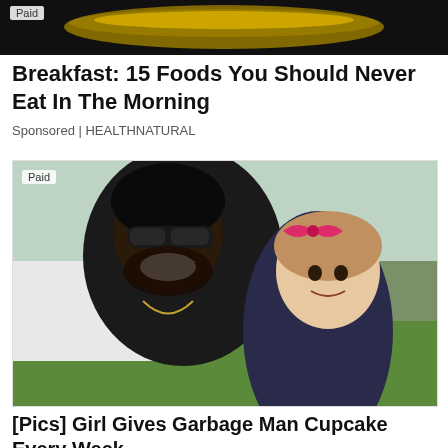[Figure (photo): Top portion of a banana image on dark background with 'Paid' label in upper left corner]
Breakfast: 15 Foods You Should Never Eat In The Morning
Sponsored | HEALTHNATURAL
[Figure (photo): Photo of a smiling man wearing sunglasses and a black cap posing with a young girl who has a pink bow in her hair; outdoor setting with green grass and trees in background; 'Paid' label in lower left corner]
[Pics] Girl Gives Garbage Man Cupcake Every Week